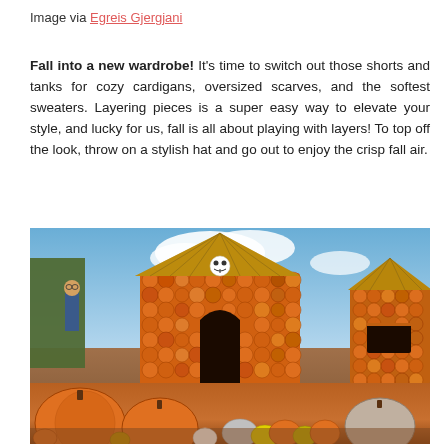Image via Egreis Gjergjani
Fall into a new wardrobe! It's time to switch out those shorts and tanks for cozy cardigans, oversized scarves, and the softest sweaters. Layering pieces is a super easy way to elevate your style, and lucky for us, fall is all about playing with layers! To top off the look, throw on a stylish hat and go out to enjoy the crisp fall air.
[Figure (photo): A festive fall harvest scene with buildings constructed entirely from stacked pumpkins and gourds of various sizes and colors, with thatched roofs. A scarecrow figure stands on the left. A skull decoration is visible on the central pumpkin house. Many pumpkins of different colors and sizes are displayed in the foreground on the ground.]